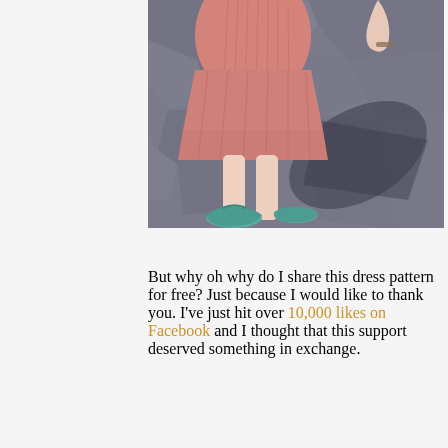[Figure (photo): Lower half of a person wearing a pink crinkled dress and teal/turquoise ballet flat shoes, standing on dark stone pavement with a shadow cast to the right.]
But why oh why do I share this dress pattern for free? Just because I would like to thank you. I've just hit over 10,000 likes on Facebook and I thought that this support deserved something in exchange.